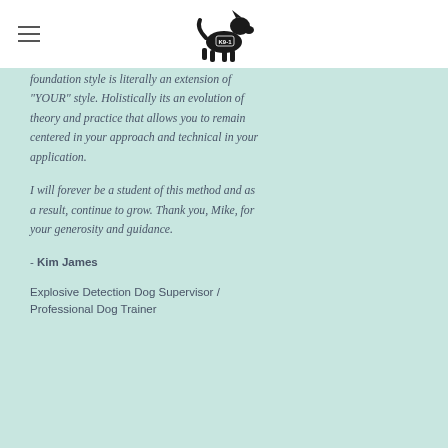K9-1 logo and navigation
foundation style is literally an extension of "YOUR" style. Holistically its an evolution of theory and practice that allows you to remain centered in your approach and technical in your application.

I will forever be a student of this method and as a result, continue to grow. Thank you, Mike, for your generosity and guidance.
- Kim James
Explosive Detection Dog Supervisor / Professional Dog Trainer